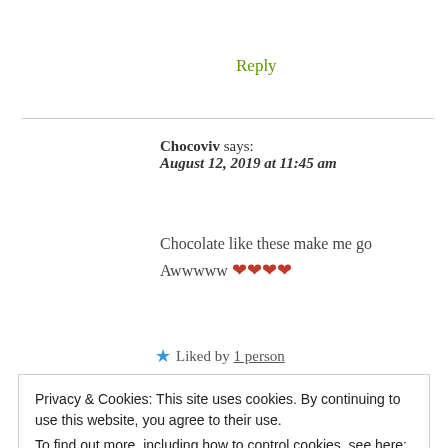Reply
Chocoviv says: August 12, 2019 at 11:45 am
Chocolate like these make me go Awwwww ❤❤❤❤
★ Liked by 1 person
Privacy & Cookies: This site uses cookies. By continuing to use this website, you agree to their use.
To find out more, including how to control cookies, see here: Cookie Policy
Close and accept
January 4, 2020 at 4:07 pm